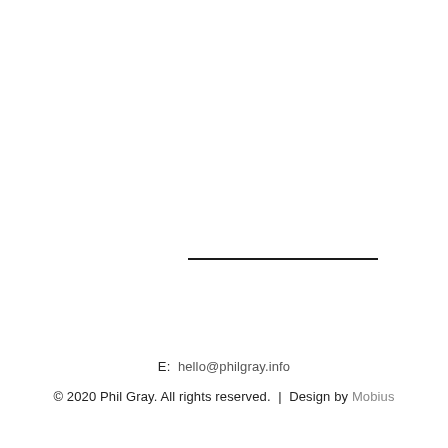E:  hello@philgray.info
© 2020 Phil Gray. All rights reserved.  |  Design by Mobius